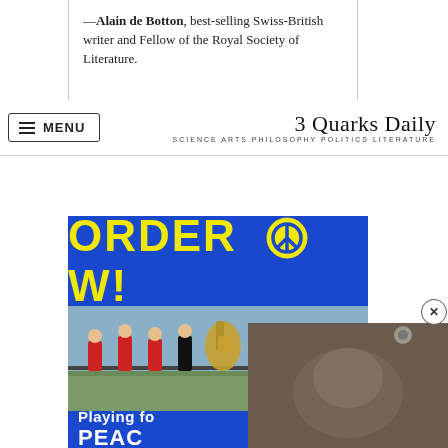—Alain de Botton, best-selling Swiss-British writer and Fellow of the Royal Society of Literature.
3 Quarks Daily | SCIENCE ARTS PHILOSOPHY POLITICS LITERATURE
[Figure (photo): Advertisement image showing a marching band in red outfits with 'ORDER NOW!' text in yellow on blue background and 'Playing for PEACE' text below]
[Figure (screenshot): Video overlay showing an animal embryo or creature, with a play button]